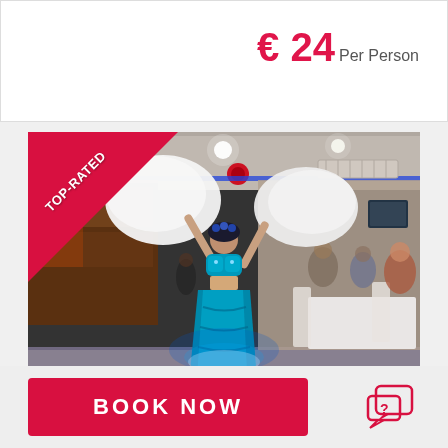€ 24 Per Person
[Figure (photo): Belly dancer in teal and blue costume holding large white feather fans above her head, performing in a restaurant/cruise boat venue with audience seated at tables in the background. TOP-RATED ribbon banner in upper left corner.]
BOOK NOW